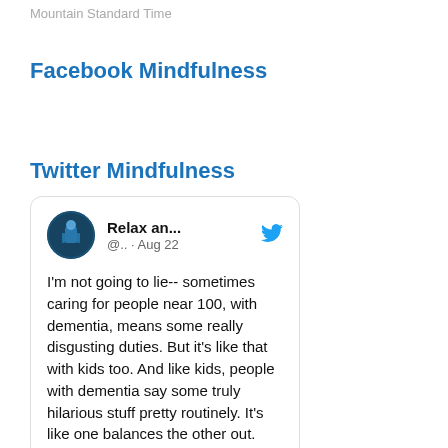Mountain Standard Time
Facebook Mindfulness
Twitter Mindfulness
Relax an... @.. · Aug 22

I'm not going to lie-- sometimes caring for people near 100, with dementia, means some really disgusting duties. But it's like that with kids too. And like kids, people with dementia say some truly hilarious stuff pretty routinely. It's like one balances the other out.